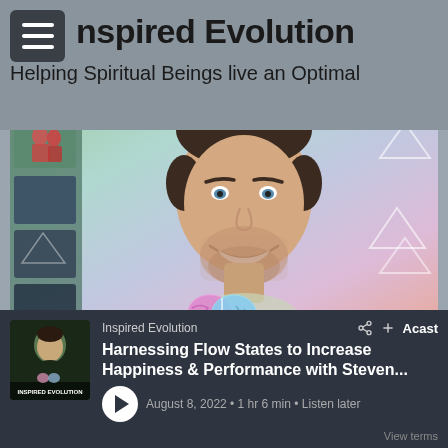Inspired Evolution
Helping Spiritual Beings live an Optimal
[Figure (photo): Smiling man with short dark hair and beard against a colorful pastel gradient background with white geometric triangle outlines and a rainbow arc. A colorful brain graphic is shown at the bottom center. Left side has a smaller collage strip of outdoor photos.]
Inspired Evolution
Harnessing Flow States to Increase Happiness & Performance with Steven...
August 8, 2022 • 1 hr 6 min • Listen later
View terms